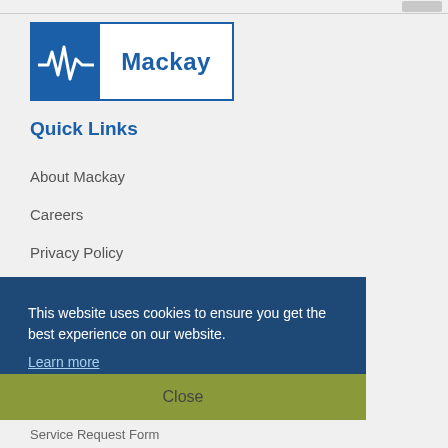[Figure (logo): Mackay company logo with blue background panel showing a white waveform/heartbeat line and 'Mackay' text in blue on white background]
Quick Links
About Mackay
Careers
Privacy Policy
Terms of Use
Site Map
News
Sales & Service Locations
This website uses cookies to ensure you get the best experience on our website. Learn more
Close
Service Request Form